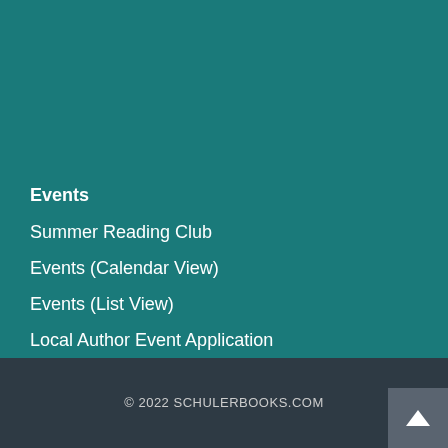Events
Summer Reading Club
Events (Calendar View)
Events (List View)
Local Author Event Application
© 2022 SCHULERBOOKS.COM